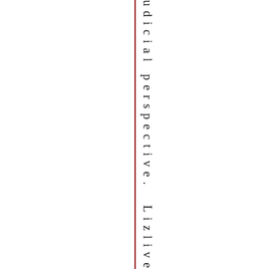[Figure (other): Dark red vertical line dividing the page, with vertically oriented text reading 'udicial perspective. Lizlives' running top to bottom on the right side of the line.]
udicial perspective. Lizlives